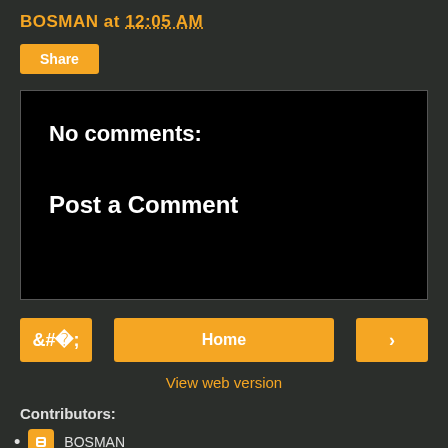BOSMAN at 12:05 AM
Share
No comments:
Post a Comment
< Home >
View web version
Contributors:
BOSMAN
Closer To Home
Doug NYC GOP
Granny T
J